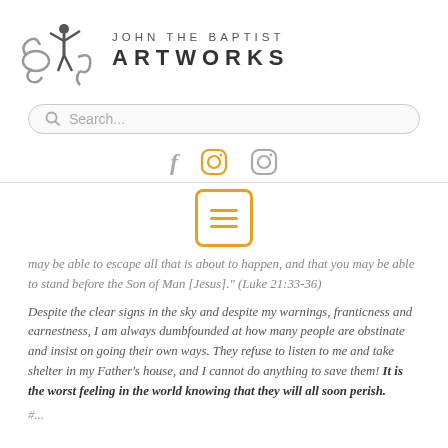[Figure (logo): John the Baptist Artworks logo with silhouette figure and decorative swirls]
[Figure (screenshot): Search bar with magnifying glass icon and placeholder text 'Search...']
[Figure (infographic): Social media icons: Facebook (f), two Instagram circle icons, one in gold and one in gray]
[Figure (infographic): Golden menu/hamburger icon in rounded square border]
may be able to escape all that is about to happen, and that you may be able to stand before the Son of Man [Jesus]." (Luke 21:33-36)
Despite the clear signs in the sky and despite my warnings, franticness and earnestness, I am always dumbfounded at how many people are obstinate and insist on going their own ways. They refuse to listen to me and take shelter in my Father's house, and I cannot do anything to save them! It is the worst feeling in the world knowing that they will all soon perish.
#...